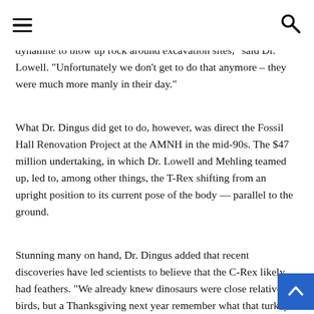[hamburger menu] [search icon]
dynamite to blow up rock around excavation sites," said Dr. Lowell. “Unfortunately we don’t get to do that anymore – they were much more manly in their day.”
What Dr. Dingus did get to do, however, was direct the Fossil Hall Renovation Project at the AMNH in the mid-90s. The $47 million undertaking, in which Dr. Lowell and Mehling teamed up, led to, among other things, the T-Rex shifting from an upright position to its current pose of the body — parallel to the ground.
Stunning many on hand, Dr. Dingus added that recent discoveries have led scientists to believe that the C-Rex likely had feathers. “We already knew dinosaurs were close relatives of birds, but a Thanksgiving next year remember what that turkey descended